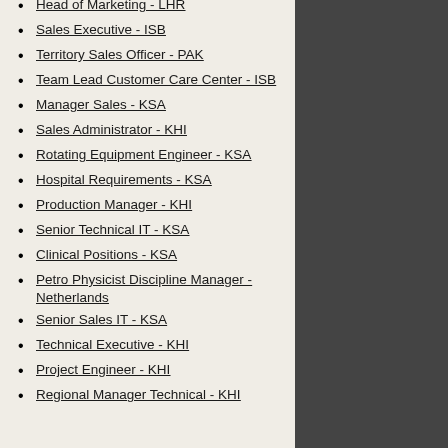Head of Marketing - LHR
Sales Executive - ISB
Territory Sales Officer - PAK
Team Lead Customer Care Center - ISB
Manager Sales - KSA
Sales Administrator - KHI
Rotating Equipment Engineer - KSA
Hospital Requirements - KSA
Production Manager - KHI
Senior Technical IT - KSA
Clinical Positions - KSA
Petro Physicist Discipline Manager - Netherlands
Senior Sales IT - KSA
Technical Executive - KHI
Project Engineer - KHI
Regional Manager Technical - KHI